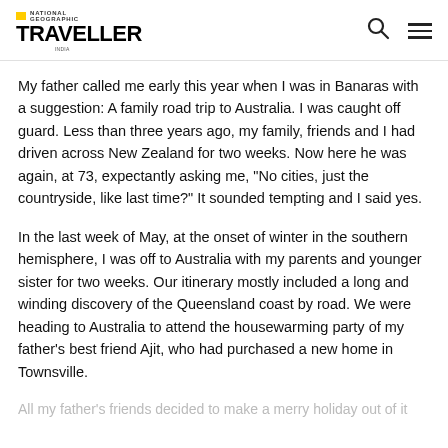NATIONAL GEOGRAPHIC TRAVELLER
My father called me early this year when I was in Banaras with a suggestion: A family road trip to Australia. I was caught off guard. Less than three years ago, my family, friends and I had driven across New Zealand for two weeks. Now here he was again, at 73, expectantly asking me, "No cities, just the countryside, like last time?" It sounded tempting and I said yes.
In the last week of May, at the onset of winter in the southern hemisphere, I was off to Australia with my parents and younger sister for two weeks. Our itinerary mostly included a long and winding discovery of the Queensland coast by road. We were heading to Australia to attend the housewarming party of my father's best friend Ajit, who had purchased a new home in Townsville.
All my father's friends decided to make a merry holiday out of it